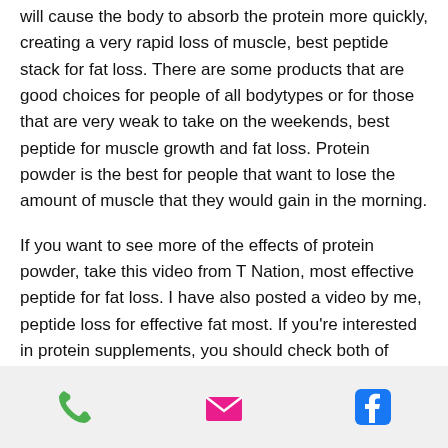will cause the body to absorb the protein more quickly, creating a very rapid loss of muscle, best peptide stack for fat loss. There are some products that are good choices for people of all bodytypes or for those that are very weak to take on the weekends, best peptide for muscle growth and fat loss. Protein powder is the best for people that want to lose the amount of muscle that they would gain in the morning.
If you want to see more of the effects of protein powder, take this video from T Nation, most effective peptide for fat loss. I have also posted a video by me, peptide loss for effective fat most. If you're interested in protein supplements, you should check both of these out.
Are you ready to be a muscle-building super-
[Figure (other): Mobile app bottom navigation bar with phone icon (green), email icon (pink/magenta), and Facebook icon (blue)]